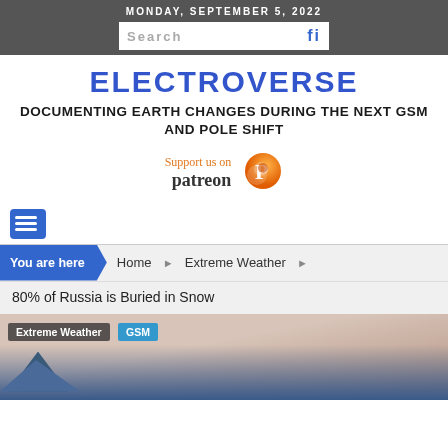MONDAY, SEPTEMBER 5, 2022
ELECTROVERSE
DOCUMENTING EARTH CHANGES DURING THE NEXT GSM AND POLE SHIFT
[Figure (logo): Support us on Patreon logo with orange Patreon P icon]
You are here  Home  Extreme Weather  80% of Russia is Buried in Snow
[Figure (photo): Article preview image showing snowy landscape with tags Extreme Weather and GSM]